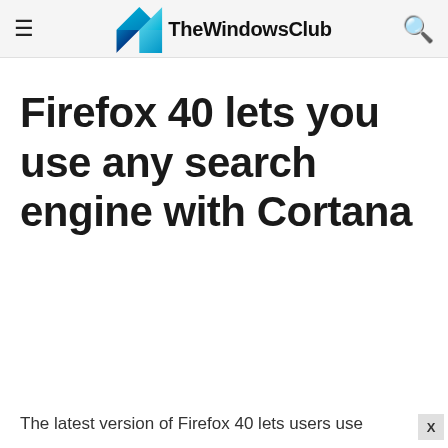TheWindowsClub
Firefox 40 lets you use any search engine with Cortana
The latest version of Firefox 40 lets users use